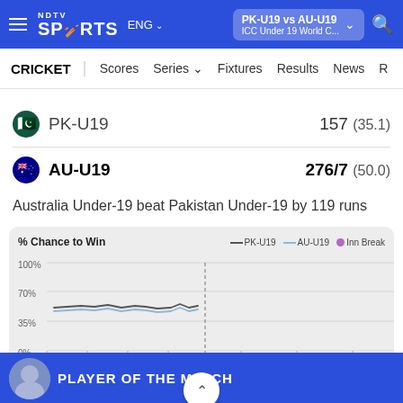NDTV Sports ENG | PK-U19 vs AU-U19 | ICC Under 19 World C...
CRICKET | Scores | Series | Fixtures | Results | News
PK-U19  157 (35.1)
AU-U19  276/7 (50.0)
Australia Under-19 beat Pakistan Under-19 by 119 runs
[Figure (line-chart): % Chance to Win]
PLAYER OF THE MATCH